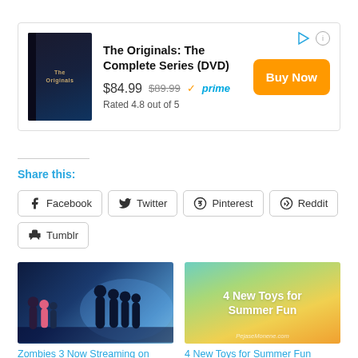[Figure (other): Amazon advertisement for The Originals: The Complete Series (DVD) showing DVD box image, price $84.99 (was $89.99), Amazon Prime logo, Rated 4.8 out of 5, and Buy Now button]
Share this:
Facebook  Twitter  Pinterest  Reddit  Tumblr
[Figure (photo): Promotional image for Zombies 3 on Disney+ showing animated characters in a blue-lit scene]
Zombies 3 Now Streaming on Disney+
[Figure (photo): Colorful gradient image with text: 4 New Toys for Summer Fun, with PejaseMonene.com watermark]
4 New Toys for Summer Fun